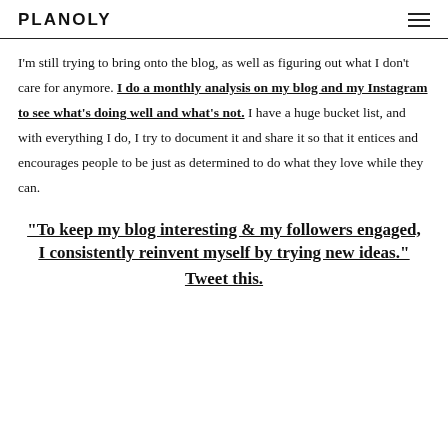PLANOLY
I'm still trying to bring onto the blog, as well as figuring out what I don't care for anymore. I do a monthly analysis on my blog and my Instagram to see what's doing well and what's not. I have a huge bucket list, and with everything I do, I try to document it and share it so that it entices and encourages people to be just as determined to do what they love while they can.
"To keep my blog interesting & my followers engaged, I consistently reinvent myself by trying new ideas." Tweet this.